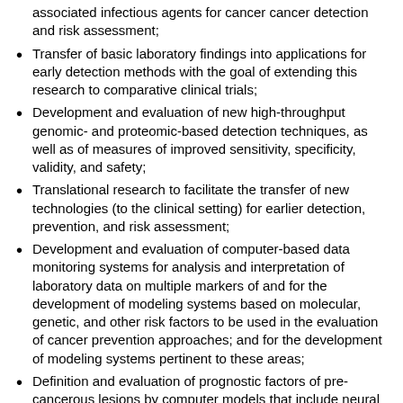associated infectious agents for cancer detection and risk assessment;
Transfer of basic laboratory findings into applications for early detection methods with the goal of extending this research to comparative clinical trials;
Development and evaluation of new high-throughput genomic- and proteomic-based detection techniques, as well as of measures of improved sensitivity, specificity, validity, and safety;
Translational research to facilitate the transfer of new technologies (to the clinical setting) for earlier detection, prevention, and risk assessment;
Development and evaluation of computer-based data monitoring systems for analysis and interpretation of laboratory data on multiple markers of and for the development of modeling systems based on molecular, genetic, and other risk factors to be used in the evaluation of cancer prevention approaches; and for the development of modeling systems pertinent to these areas;
Definition and evaluation of prognostic factors of pre-cancerous lesions by computer models that include neural networks, artificial intelligence, and other techniques;
Development of analytic techniques to identify populations that may be at increased risk as indicated